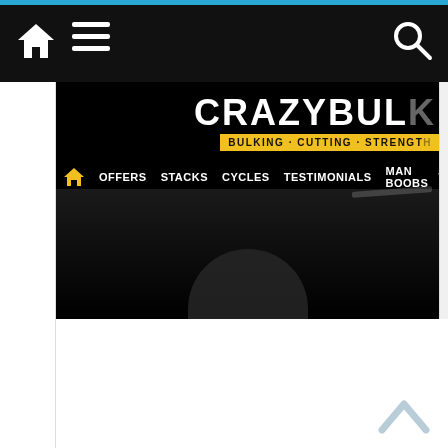Navigation bar with home icon, hamburger menu, and search icon
[Figure (screenshot): CrazyBulk website header screenshot showing brand logo 'CRAZYBULK' with tagline 'BULKING · CUTTING · STRENGTH' and navigation menu items: OFFERS, STACKS, CYCLES, TESTIMONIALS, MAN BOOBS. Dark background with white text and yellow accent. Bottom portion shows dark hero area.]